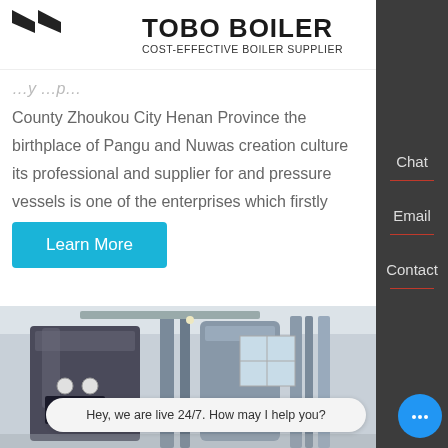TOBO BOILER — COST-EFFECTIVE BOILER SUPPLIER | MENU
County Zhoukou City Henan Province the birthplace of Pangu and Nuwas creation culture its professional and supplier for and pressure vessels is one of the enterprises which firstly
Learn More
[Figure (photo): Industrial boiler equipment inside a factory building, showing large cylindrical boilers and piping. A Chinese manufacturer logo (方快锅炉) is visible on the equipment.]
Hey, we are live 24/7. How may I help you?